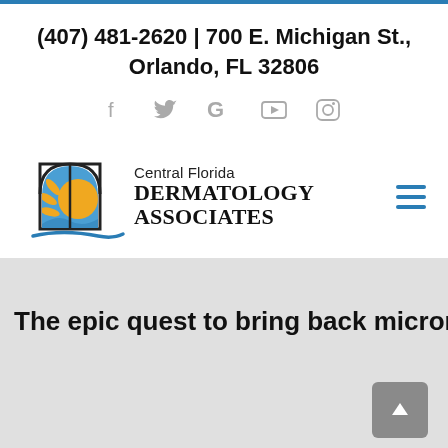(407) 481-2620 | 700 E. Michigan St., Orlando, FL 32806
[Figure (logo): Social media icons: Facebook, Twitter, Google, YouTube, Instagram in light gray]
[Figure (logo): Central Florida Dermatology Associates logo with sun/window graphic and blue swoosh, plus hamburger menu icon]
The epic quest to bring back microneedl